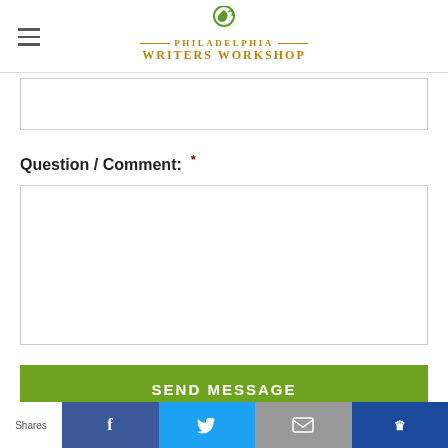Philadelphia Writers Workshop
[Figure (other): Text input field (empty)]
Question / Comment:  *
[Figure (other): Textarea input field (empty, large)]
SEND MESSAGE
Shares — Facebook, Twitter, Email, Klout share buttons